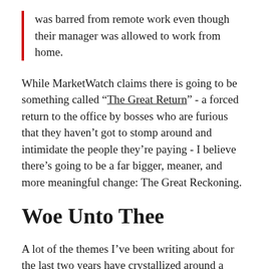was barred from remote work even though their manager was allowed to work from home.
While MarketWatch claims there is going to be something called “The Great Return” - a forced return to the office by bosses who are furious that they haven’t got to stomp around and intimidate the people they’re paying - I believe there’s going to be a far bigger, meaner, and more meaningful change: The Great Reckoning.
Woe Unto Thee
A lot of the themes I’ve been writing about for the last two years have crystallized around a disconnection between the forces creating value in a business and those that receive the benefits of said value. Despite the